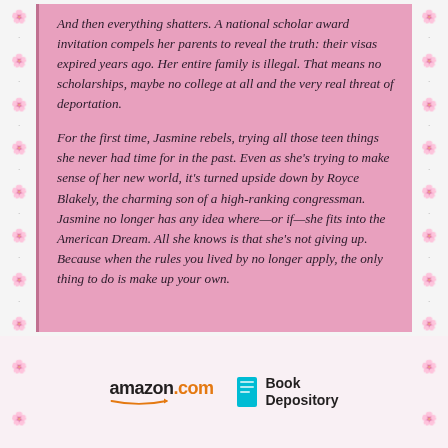And then everything shatters. A national scholar award invitation compels her parents to reveal the truth: their visas expired years ago. Her entire family is illegal. That means no scholarships, maybe no college at all and the very real threat of deportation.
For the first time, Jasmine rebels, trying all those teen things she never had time for in the past. Even as she's trying to make sense of her new world, it's turned upside down by Royce Blakely, the charming son of a high-ranking congressman. Jasmine no longer has any idea where—or if—she fits into the American Dream. All she knows is that she's not giving up. Because when the rules you lived by no longer apply, the only thing to do is make up your own.
[Figure (logo): Amazon.com logo and Book Depository logo side by side]